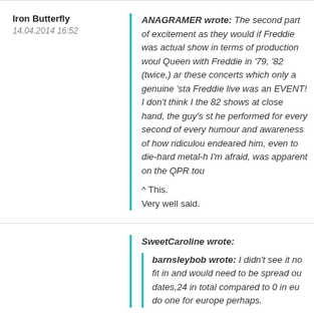Iron Butterfly
14.04.2014 16:52
ANAGRAMER wrote: The second part of excitement as they would if Freddie was actual show in terms of production would Queen with Freddie in '79, '82 (twice,) an these concerts which only a genuine 'sta Freddie live was an EVENT! I don't think I the 82 shows at close hand, the guy's st he performed for every second of every humour and awareness of how ridiculou endeared him, even to die-hard metal-h I'm afraid, was apparent on the QPR tou
^ This.
Very well said.
SweetCaroline wrote:
barnsleybob wrote: I didn't see it no fit in and would need to be spread ou dates,24 in total compared to 0 in eu do one for europe perhaps.